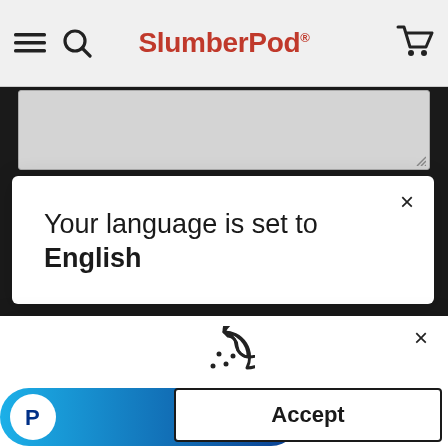SlumberPod
[Figure (screenshot): Textarea input box with resize handle]
Your language is set to English
[Figure (illustration): Cookie icon (circle with bite and dots)]
This website uses cookies to ensure you get the best experience. Learn more
Accept
Politique d'expédition    Examens